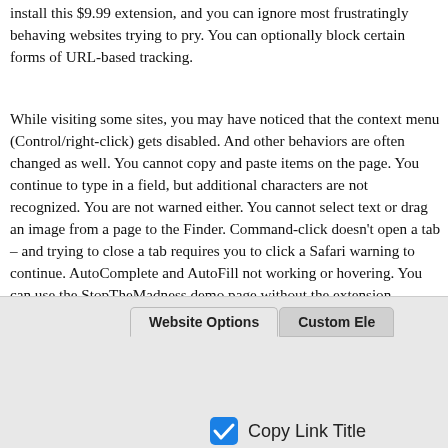install this $9.99 extension, and you can ignore most frustratingly behaving websites trying to pry. You can optionally block certain forms of URL-based tracking.
While visiting some sites, you may have noticed that the context menu (Control/right-click) gets disabled. And other behaviors are often changed as well. You cannot copy and paste items on the page. You continue to type in a field, but additional characters are not recognized. You are not warned either. You cannot select text or drag an image from a page to the Finder. Command-click doesn’t open a tab – and trying to close a tab requires you to click a Safari warning to continue. AutoComplete and AutoFill not working or hovering. You can use the StopTheMadness demo page without the extension installed to see many of these restrictions in action.
[Figure (screenshot): A partial screenshot of a macOS Safari extension settings panel showing tab buttons 'Website Options' and 'Custom Ele...' (truncated), and a checked blue checkbox labeled 'Copy Link Title'.]